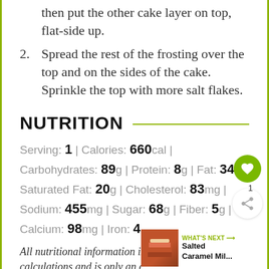then put the other cake layer on top, flat-side up.
2. Spread the rest of the frosting over the top and on the sides of the cake. Sprinkle the top with more salt flakes.
NUTRITION
Serving: 1 | Calories: 660cal | Carbohydrates: 89g | Protein: 8g | Fat: 34g | Saturated Fat: 20g | Cholesterol: 83mg | Sodium: 455mg | Sugar: 68g | Fiber: 5g | Calcium: 98mg | Iron: 4mg
All nutritional information is based on third party calculations and is only an estimate.